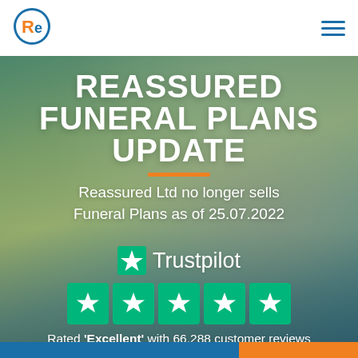[Figure (logo): ReAssured logo: circular icon with orange R and blue e letters]
[Figure (illustration): Hamburger menu icon with three horizontal blue lines]
[Figure (photo): Background photo of an elderly couple walking outdoors among trees with yellow-green foliage, overlaid with a blue-green tint]
REASSURED FUNERAL PLANS UPDATE
Reassured Ltd no longer sells Funeral Plans as of 25.07.2022
[Figure (logo): Trustpilot logo: green star followed by the word Trustpilot in white]
[Figure (infographic): Five green star rating boxes from Trustpilot]
Rated 'Excellent' with 66,288 customer reviews